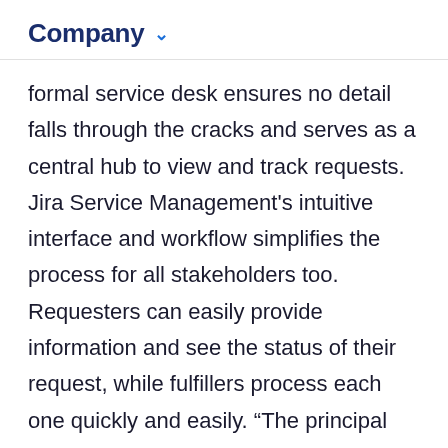Company
formal service desk ensures no detail falls through the cracks and serves as a central hub to view and track requests. Jira Service Management’s intuitive interface and workflow simplifies the process for all stakeholders too. Requesters can easily provide information and see the status of their request, while fulfillers process each one quickly and easily. “The principal benefit has been time savings. It’s so much easier to log requests in the right place and